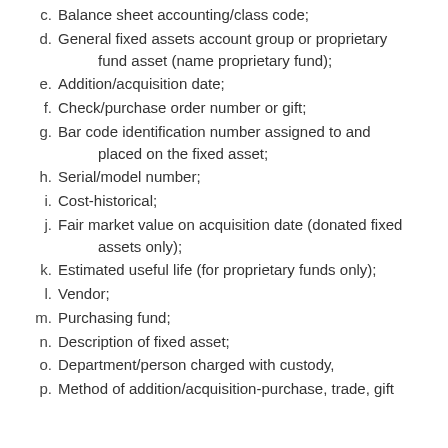c. Balance sheet accounting/class code;
d. General fixed assets account group or proprietary fund asset (name proprietary fund);
e. Addition/acquisition date;
f. Check/purchase order number or gift;
g. Bar code identification number assigned to and placed on the fixed asset;
h. Serial/model number;
i. Cost-historical;
j. Fair market value on acquisition date (donated fixed assets only);
k. Estimated useful life (for proprietary funds only);
l. Vendor;
m. Purchasing fund;
n. Description of fixed asset;
o. Department/person charged with custody,
p. Method of addition/acquisition-purchase, trade, gift